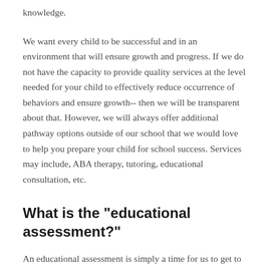knowledge.
We want every child to be successful and in an environment that will ensure growth and progress. If we do not have the capacity to provide quality services at the level needed for your child to effectively reduce occurrence of behaviors and ensure growth-- then we will be transparent about that. However, we will always offer additional pathway options outside of our school that we would love to help you prepare your child for school success. Services may include, ABA therapy, tutoring, educational consultation, etc.
What is the "educational assessment?"
An educational assessment is simply a time for us to get to know you and your child. We want to see how your child interacts with adults, the environment, and stimuli in the